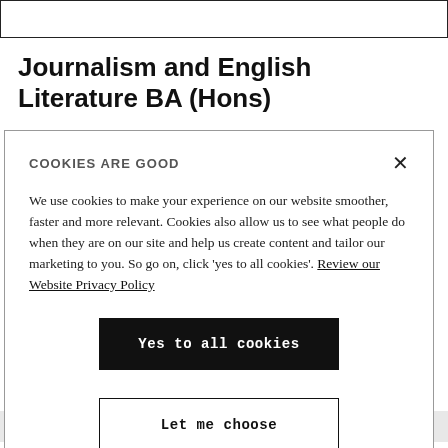Journalism and English Literature BA (Hons)
[Figure (screenshot): Cookie consent modal dialog with title 'COOKIES ARE GOOD', body text about cookie usage, a 'Yes to all cookies' button and a 'Let me choose' button, with a close X button in top right.]
monitor government and